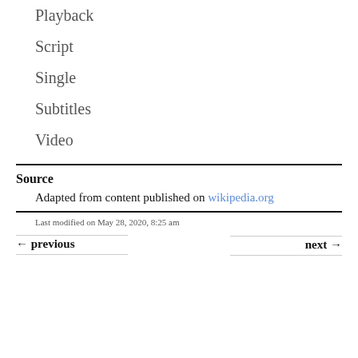Playback
Script
Single
Subtitles
Video
Source
Adapted from content published on wikipedia.org
Last modified on May 28, 2020, 8:25 am
← previous
next →